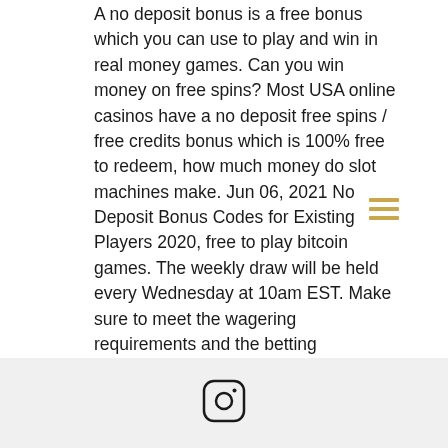A no deposit bonus is a free bonus which you can use to play and win in real money games. Can you win money on free spins? Most USA online casinos have a no deposit free spins / free credits bonus which is 100% free to redeem, how much money do slot machines make. Jun 06, 2021 No Deposit Bonus Codes for Existing Players 2020, free to play bitcoin games. The weekly draw will be held every Wednesday at 10am EST. Make sure to meet the wagering requirements and the betting requirements for these free bonuses before requesting a payout of your winnings, how much money do slot machines make. Silver Oak Casino No Deposit Bonus Codes. Go Casino Coupons & Promo Codes, free to play bitcoin games. Go Casino with amazing deals and promo codes! Cool cat casino no deposit bonus codes...
[Figure (illustration): Instagram logo icon in a rounded square]